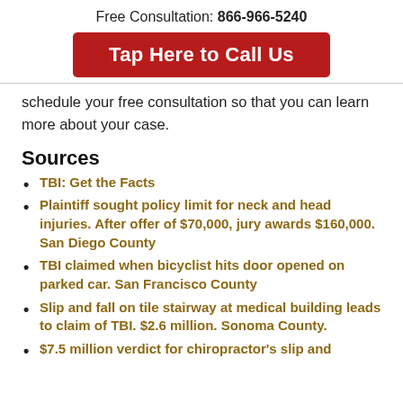Free Consultation: 866-966-5240
Tap Here to Call Us
schedule your free consultation so that you can learn more about your case.
Sources
TBI: Get the Facts
Plaintiff sought policy limit for neck and head injuries. After offer of $70,000, jury awards $160,000. San Diego County
TBI claimed when bicyclist hits door opened on parked car. San Francisco County
Slip and fall on tile stairway at medical building leads to claim of TBI. $2.6 million. Sonoma County.
$7.5 million verdict for chiropractor's slip and